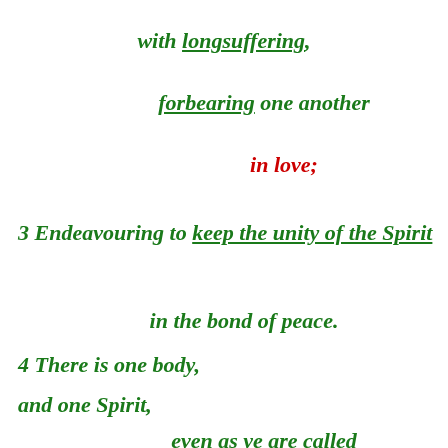with longsuffering,
forbearing one another
in love;
3 Endeavouring to keep the unity of the Spirit
in the bond of peace.
4 There is one body,
and one Spirit,
even as ye are called